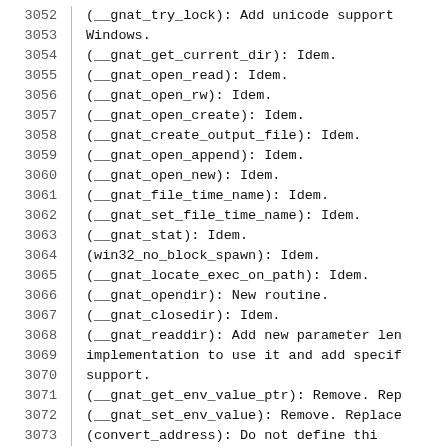3052    (__gnat_try_lock): Add unicode support Windows.
3053    Windows.
3054    (__gnat_get_current_dir): Idem.
3055    (__gnat_open_read): Idem.
3056    (__gnat_open_rw): Idem.
3057    (__gnat_open_create): Idem.
3058    (__gnat_create_output_file): Idem.
3059    (__gnat_open_append): Idem.
3060    (__gnat_open_new): Idem.
3061    (__gnat_file_time_name): Idem.
3062    (__gnat_set_file_time_name): Idem.
3063    (__gnat_stat): Idem.
3064    (win32_no_block_spawn): Idem.
3065    (__gnat_locate_exec_on_path): Idem.
3066    (__gnat_opendir): New routine.
3067    (__gnat_closedir): Idem.
3068    (__gnat_readdir): Add new parameter len
3069    implementation to use it and add specif
3070    support.
3071    (__gnat_get_env_value_ptr): Remove. Rep
3072    (__gnat_set_env_value): Remove. Replace
3073    (convert_address): Do not define thi